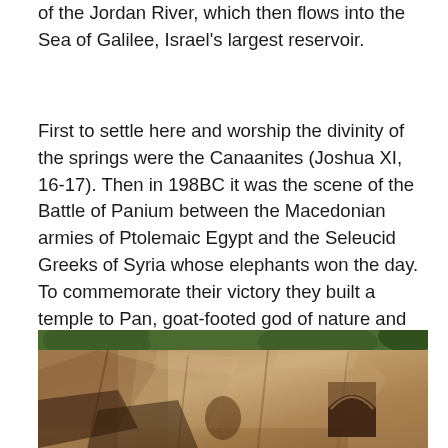of the Jordan River, which then flows into the Sea of Galilee, Israel's largest reservoir.
First to settle here and worship the divinity of the springs were the Canaanites (Joshua XI, 16-17). Then in 198BC it was the scene of the Battle of Panium between the Macedonian armies of Ptolemaic Egypt and the Seleucid Greeks of Syria whose elephants won the day. To commemorate their victory they built a temple to Pan, goat-footed god of nature and wild things, creator of panic in the enemy. The local name became Paneas, the origin of modern Banias – Arabic has no 'p', so uses 'b' as the closest sound.
[Figure (photo): Photograph of a rocky cliff face with carved niches and alcoves, showing ancient stonework typical of the Banias/Caesarea Philippi archaeological site. Vegetation visible at top, an arched niche carved into the rock face visible on the right side.]